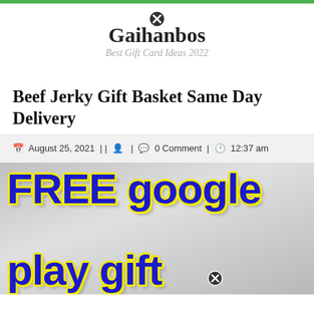Gaihanbos
Best Gift Card Ideas 2022
Beef Jerky Gift Basket Same Day Delivery
August 25, 2021 | | | 0 Comment | 12:37 am
[Figure (illustration): Promotional image with colorful text reading 'FREE google play gift' in large blue letters with yellow outline on a grey gradient background]